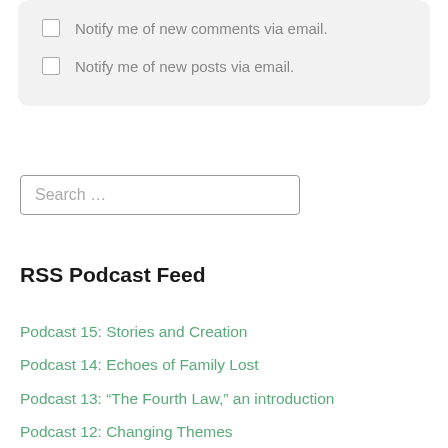Notify me of new comments via email.
Notify me of new posts via email.
Search …
RSS Podcast Feed
Podcast 15: Stories and Creation
Podcast 14: Echoes of Family Lost
Podcast 13: "The Fourth Law," an introduction
Podcast 12: Changing Themes
Podcast 11: Religion in Machine Civilization